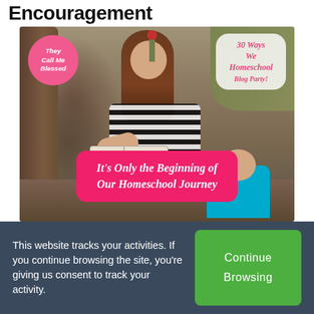Encouragement
[Figure (photo): A woman in a black-and-white striped shirt sitting outdoors reading a book, with a young child in a teal shirt beside her. Two overlay badges visible: pink circular 'They Call Me Blessed' badge top-left, and a white cloud-shaped badge reading '30 Ways We Homeschool Blog Party!' top-right. A pink rounded rectangle overlay reads 'It's Only the Beginning of Our Homeschool Journey'.]
This website tracks your activities. If you continue browsing the site, you're giving us consent to track your activity.
Continue Browsing